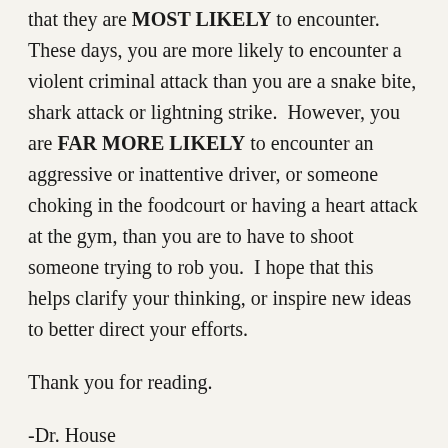that they are MOST LIKELY to encounter. These days, you are more likely to encounter a violent criminal attack than you are a snake bite, shark attack or lightning strike. However, you are FAR MORE LIKELY to encounter an aggressive or inattentive driver, or someone choking in the foodcourt or having a heart attack at the gym, than you are to have to shoot someone trying to rob you. I hope that this helps clarify your thinking, or inspire new ideas to better direct your efforts.
Thank you for reading.
-Dr. House